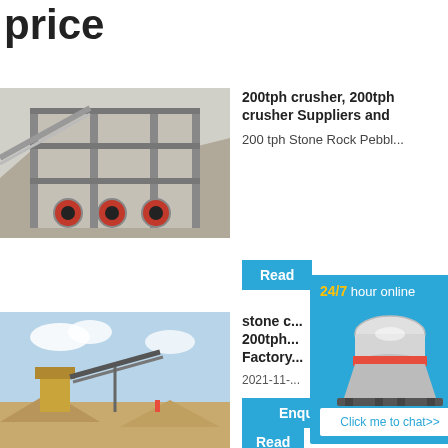price
[Figure (photo): Industrial crusher/processing plant facility with multi-level steel structure and large red drums]
200tph crusher, 200tph crusher Suppliers and
200 tph Stone Rock Pebbl...
Read
[Figure (infographic): 24/7 hour online chat widget with cone crusher machine image and Click me to chat>> button]
[Figure (photo): Outdoor stone crushing plant with conveyor belts and piles of sand/gravel]
stone c... 200tph Factory
2021-11-...
Enquiry
Read limingjlmofen